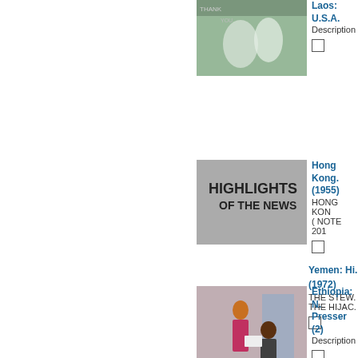[Figure (photo): Blurry greenish photo of people in white clothing]
Laos: U.S.A...
Description...
[Figure (photo): Black and white title card reading HIGHLIGHTS OF THE NEWS]
Hong Kong... (1955)
HONG KON... ( NOTE 201...
Yemen: Hi... (1972)
THE STEW... THE HIJAC...
[Figure (photo): Color photo of people in an indoor setting, woman in pink dress]
Ethiopia: ... Presser (2...
Description...